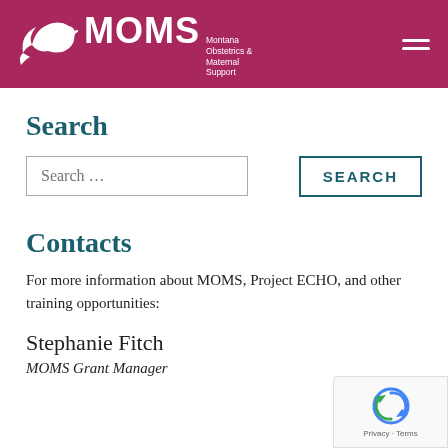[Figure (logo): MOMS Montana Obstetrics & Maternal Support logo with stylized bird/Montana shape in white on dark pink/maroon header bar with hamburger menu icon]
Search
Search …
Contacts
For more information about MOMS, Project ECHO, and other training opportunities:
Stephanie Fitch
MOMS Grant Manager